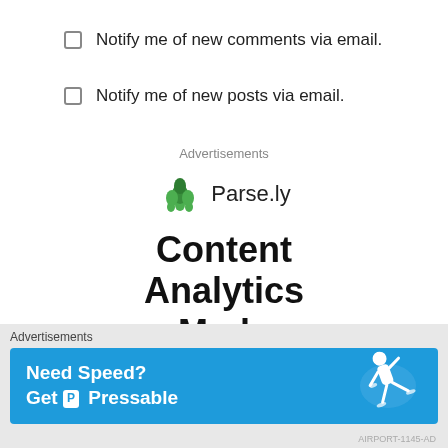Notify me of new comments via email.
Notify me of new posts via email.
Advertisements
[Figure (logo): Parse.ly logo with green leaf/plant icon]
Content Analytics Made Easy
[Figure (infographic): Get A Demo button (green)]
Advertisements
[Figure (infographic): Pressable banner ad: Need Speed? Get Pressable, blue background with person running]